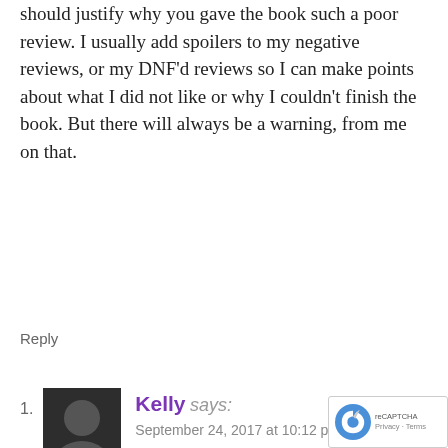should justify why you gave the book such a poor review. I usually add spoilers to my negative reviews, or my DNF'd reviews so I can make points about what I did not like or why I couldn't finish the book. But there will always be a warning, from me on that.
Reply
Kelly says:
September 24, 2017 at 10:12 pm
I definitely agree with you – it can be hard to post a review without spoilers if you didn't actually enjoy the book. I've written quite a few of those and they're really difficult to write. I'm glad to know you at post warnings when you post spoilers though!